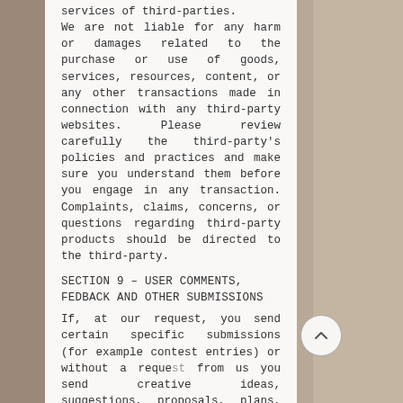services of third-parties. We are not liable for any harm or damages related to the purchase or use of goods, services, resources, content, or any other transactions made in connection with any third-party websites. Please review carefully the third-party's policies and practices and make sure you understand them before you engage in any transaction. Complaints, claims, concerns, or questions regarding third-party products should be directed to the third-party.
SECTION 9 - USER COMMENTS, FEDBACK AND OTHER SUBMISSIONS
If, at our request, you send certain specific submissions (for example contest entries) or without a request from us you send creative ideas, suggestions, proposals, plans, or other